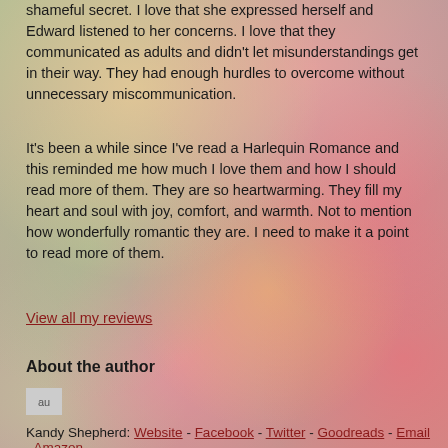shameful secret. I love that she expressed herself and Edward listened to her concerns. I love that they communicated as adults and didn't let misunderstandings get in their way. They had enough hurdles to overcome without unnecessary miscommunication.
It's been a while since I've read a Harlequin Romance and this reminded me how much I love them and how I should read more of them. They are so heartwarming. They fill my heart and soul with joy, comfort, and warmth. Not to mention how wonderfully romantic they are. I need to make it a point to read more of them.
View all my reviews
About the author
[Figure (photo): Author photo placeholder image]
Kandy Shepherd: Website - Facebook - Twitter - Goodreads - Email - Amazon